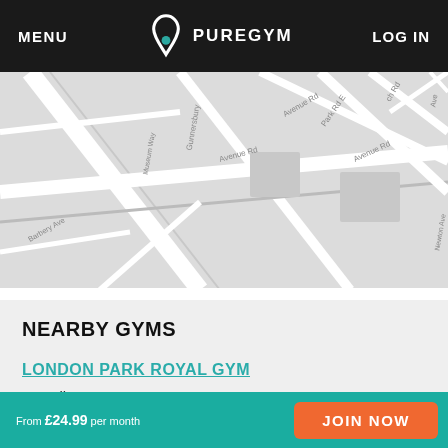MENU | PUREGYM | LOG IN
[Figure (map): Street map showing area around Park Royal, London, with roads including Gunnersbury, Avenue Rd, Park Rd E, Newton Ave, Museum Way, Barbery Ave]
NEARBY GYMS
LONDON PARK ROYAL GYM
1.2 miles
W3 0PA - Park Royal Leisure Park, Western Ave
From £24.99 per month | JOIN NOW